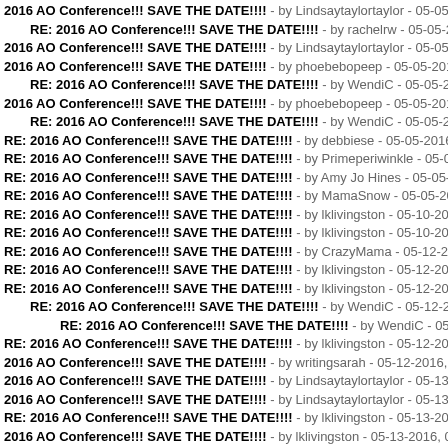2016 AO Conference!!! SAVE THE DATE!!!! - by Lindsaytaylortaylor - 05-05-20
RE: 2016 AO Conference!!! SAVE THE DATE!!!! - by rachelrw - 05-05-2016, 0
2016 AO Conference!!! SAVE THE DATE!!!! - by Lindsaytaylortaylor - 05-05-20
2016 AO Conference!!! SAVE THE DATE!!!! - by phoebebopeep - 05-05-2016,
RE: 2016 AO Conference!!! SAVE THE DATE!!!! - by WendiC - 05-05-2016
2016 AO Conference!!! SAVE THE DATE!!!! - by phoebebopeep - 05-05-2016,
RE: 2016 AO Conference!!! SAVE THE DATE!!!! - by WendiC - 05-05-2016
RE: 2016 AO Conference!!! SAVE THE DATE!!!! - by debbiese - 05-05-2016,
RE: 2016 AO Conference!!! SAVE THE DATE!!!! - by Primeperiwinkle - 05-05-
RE: 2016 AO Conference!!! SAVE THE DATE!!!! - by Amy Jo Hines - 05-05-20
RE: 2016 AO Conference!!! SAVE THE DATE!!!! - by MamaSnow - 05-05-201
RE: 2016 AO Conference!!! SAVE THE DATE!!!! - by lklivingston - 05-10-2016
RE: 2016 AO Conference!!! SAVE THE DATE!!!! - by lklivingston - 05-10-2016
RE: 2016 AO Conference!!! SAVE THE DATE!!!! - by CrazyMama - 05-12-201
RE: 2016 AO Conference!!! SAVE THE DATE!!!! - by lklivingston - 05-12-2016
RE: 2016 AO Conference!!! SAVE THE DATE!!!! - by lklivingston - 05-12-2016
RE: 2016 AO Conference!!! SAVE THE DATE!!!! - by WendiC - 05-12-2016
RE: 2016 AO Conference!!! SAVE THE DATE!!!! - by WendiC - 05-13-20
RE: 2016 AO Conference!!! SAVE THE DATE!!!! - by lklivingston - 05-12-2016
2016 AO Conference!!! SAVE THE DATE!!!! - by writingsarah - 05-12-2016, 03
2016 AO Conference!!! SAVE THE DATE!!!! - by Lindsaytaylortaylor - 05-13-20
2016 AO Conference!!! SAVE THE DATE!!!! - by Lindsaytaylortaylor - 05-13-20
RE: 2016 AO Conference!!! SAVE THE DATE!!!! - by lklivingston - 05-13-2016
2016 AO Conference!!! SAVE THE DATE!!!! - by lklivingston - 05-13-2016, 02:
RE: 2016 AO Conference!!! SAVE THE DATE!!!! - by Friederike - 05-13-20